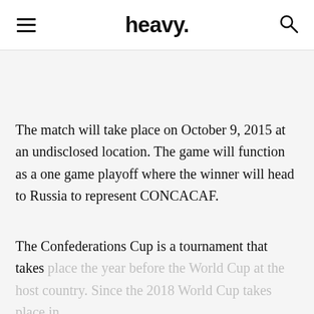heavy.
The match will take place on October 9, 2015 at an undisclosed location. The game will function as a one game playoff where the winner will head to Russia to represent CONCACAF.
The Confederations Cup is a tournament that takes place the year before the World Cup at the host country. Since the 2018 World Cup takes place in